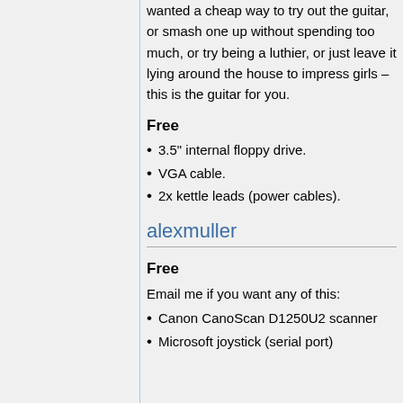wanted a cheap way to try out the guitar, or smash one up without spending too much, or try being a luthier, or just leave it lying around the house to impress girls – this is the guitar for you.
Free
3.5" internal floppy drive.
VGA cable.
2x kettle leads (power cables).
alexmuller
Free
Email me if you want any of this:
Canon CanoScan D1250U2 scanner
Microsoft joystick (serial port)